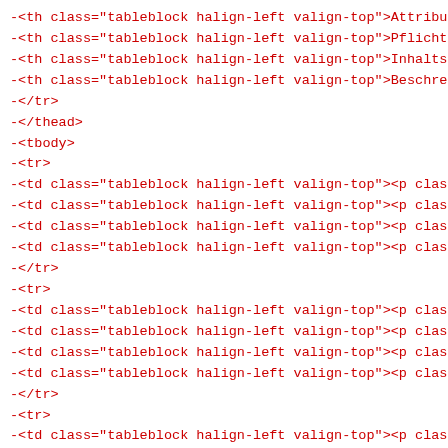-<th class="tableblock halign-left valign-top">Attribu
-<th class="tableblock halign-left valign-top">Pflicht
-<th class="tableblock halign-left valign-top">Inhalts
-<th class="tableblock halign-left valign-top">Beschre
-</tr>
-</thead>
-<tbody>
-<tr>
-<td class="tableblock halign-left valign-top"><p clas
-<td class="tableblock halign-left valign-top"><p clas
-<td class="tableblock halign-left valign-top"><p clas
-<td class="tableblock halign-left valign-top"><p clas
-</tr>
-<tr>
-<td class="tableblock halign-left valign-top"><p clas
-<td class="tableblock halign-left valign-top"><p clas
-<td class="tableblock halign-left valign-top"><p clas
-<td class="tableblock halign-left valign-top"><p clas
-</tr>
-<tr>
-<td class="tableblock halign-left valign-top"><p clas
-<td class="tableblock halign-left valign-top"><p clas